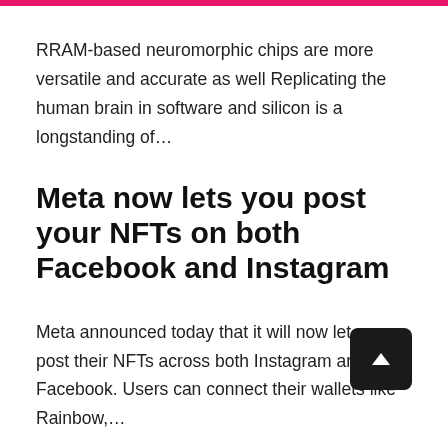RRAM-based neuromorphic chips are more versatile and accurate as well Replicating the human brain in software and silicon is a longstanding of…
Meta now lets you post your NFTs on both Facebook and Instagram
Meta announced today that it will now let users post their NFTs across both Instagram and Facebook. Users can connect their wallets like Rainbow,…
Leave a Reply
Your email address will not be published. Required fields are